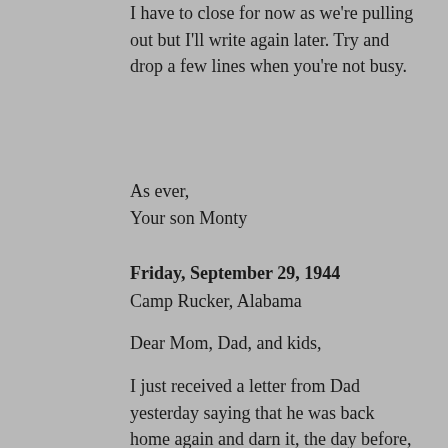I have to close for now as we're pulling out but I'll write again later. Try and drop a few lines when you're not busy.
As ever,
Your son Monty
Friday, September 29, 1944
Camp Rucker, Alabama
Dear Mom, Dad, and kids,
I just received a letter from Dad yesterday saying that he was back home again and darn it, the day before, I wrote to you in Minnesota. Yep, I've only seen camp once in the last two weeks and I won't be able to see it again before the last part of October. Right now it is just getting light enough for me to see so I can write this. I've